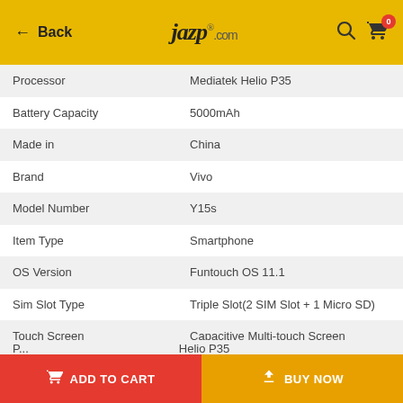← Back  jazp.com  🔍  🛒 0
| Attribute | Value |
| --- | --- |
| Processor | Mediatek Helio P35 |
| Battery Capacity | 5000mAh |
| Made in | China |
| Brand | Vivo |
| Model Number | Y15s |
| Item Type | Smartphone |
| OS Version | Funtouch OS 11.1 |
| Sim Slot Type | Triple Slot(2 SIM Slot + 1 Micro SD) |
| Touch Screen | Capacitive Multi-touch Screen |
| Scene Modes | Pano, Portrait, Photo, Video, Live Photo, Time-Lapse, Pro, Documents |
| Connectivity | Wi-Fi, Bluetooth,USB,GPS,OTG |
| Finger Print Sensor | Side Mounted |
| Processor | Helio P35 |
ADD TO CART   BUY NOW